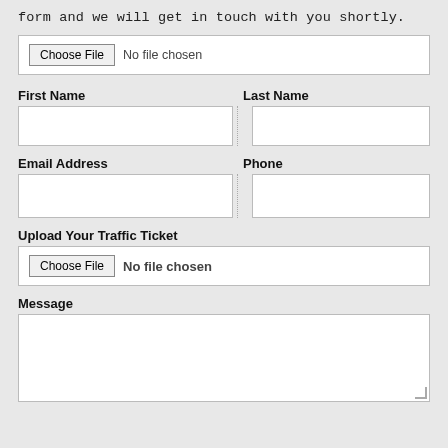form and we will get in touch with you shortly.
[Figure (screenshot): File input box with 'Choose File' button and 'No file chosen' text]
First Name
Last Name
[Figure (screenshot): Two empty text input boxes for First Name and Last Name]
Email Address
Phone
[Figure (screenshot): Two empty text input boxes for Email Address and Phone]
Upload Your Traffic Ticket
[Figure (screenshot): File input box with 'Choose File' button and 'No file chosen' text for traffic ticket upload]
Message
[Figure (screenshot): Large empty text area for message input]